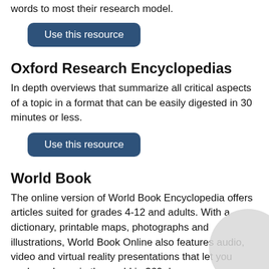words to most their research model.
[Figure (other): Blue rounded button labeled 'Use this resource']
Oxford Research Encyclopedias
In depth overviews that summarize all critical aspects of a topic in a format that can be easily digested in 30 minutes or less.
[Figure (other): Blue rounded button labeled 'Use this resource']
World Book
The online version of World Book Encyclopedia offers articles suited for grades 4-12 and adults. With a dictionary, printable maps, photographs and illustrations, World Book Online also features audio, video and virtual reality presentations that let you explore places in the world in 360 degrees.